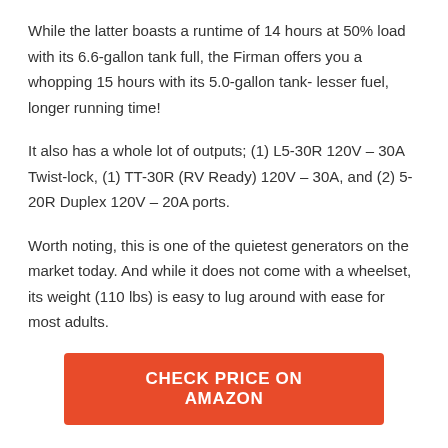While the latter boasts a runtime of 14 hours at 50% load with its 6.6-gallon tank full, the Firman offers you a whopping 15 hours with its 5.0-gallon tank- lesser fuel, longer running time!
It also has a whole lot of outputs; (1) L5-30R 120V – 30A Twist-lock, (1) TT-30R (RV Ready) 120V – 30A, and (2) 5-20R Duplex 120V – 20A ports.
Worth noting, this is one of the quietest generators on the market today. And while it does not come with a wheelset, its weight (110 lbs) is easy to lug around with ease for most adults.
CHECK PRICE ON AMAZON